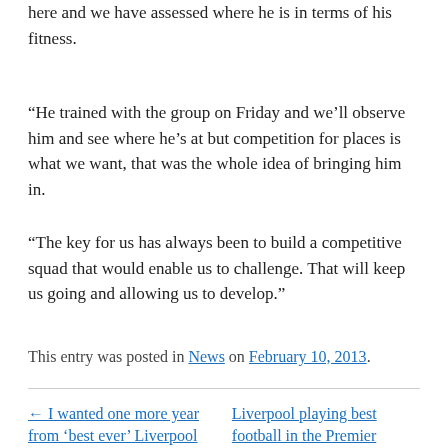here and we have assessed where he is in terms of his fitness.
“He trained with the group on Friday and we’ll observe him and see where he’s at but competition for places is what we want, that was the whole idea of bringing him in.
“The key for us has always been to build a competitive squad that would enable us to challenge. That will keep us going and allowing us to develop.”
This entry was posted in News on February 10, 2013.
← I wanted one more year from ‘best ever’ Liverpool
Liverpool playing best football in the Premier League, insists